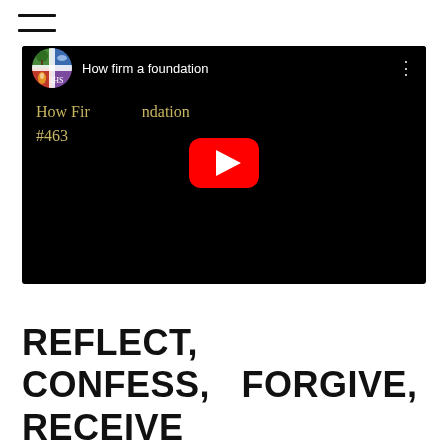☰
[Figure (screenshot): YouTube video embed showing 'How firm a foundation' with church logo, black background, golden text overlay reading 'How Firm a Foundation #463', and a red YouTube play button in the center.]
REFLECT,  CONFESS,  FORGIVE, RECEIVE